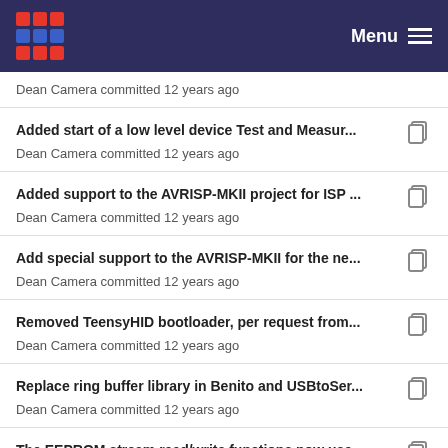Menu
Dean Camera committed 12 years ago
Added start of a low level device Test and Measur...
Dean Camera committed 12 years ago
Added support to the AVRISP-MKII project for ISP ...
Dean Camera committed 12 years ago
Add special support to the AVRISP-MKII for the ne...
Dean Camera committed 12 years ago
Removed TeensyHID bootloader, per request from...
Dean Camera committed 12 years ago
Replace ring buffer library in Benito and USBtoSer...
Dean Camera committed 12 years ago
The EEPROM stream read/write functions now use...
Dean Camera committed 12 years ago